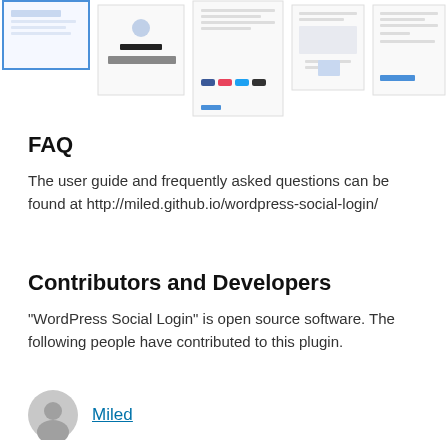[Figure (screenshot): Strip of five screenshot thumbnails of the WordPress Social Login plugin interface]
FAQ
The user guide and frequently asked questions can be found at http://miled.github.io/wordpress-social-login/
Contributors and Developers
“WordPress Social Login” is open source software. The following people have contributed to this plugin.
Miled